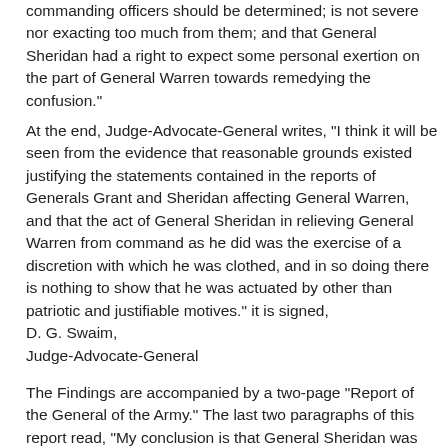commanding officers should be determined; is not severe nor exacting too much from them; and that General Sheridan had a right to expect some personal exertion on the part of General Warren towards remedying the confusion."
At the end, Judge-Advocate-General writes, "I think it will be seen from the evidence that reasonable grounds existed justifying the statements contained in the reports of Generals Grant and Sheridan affecting General Warren, and that the act of General Sheridan in relieving General Warren from command as he did was the exercise of a discretion with which he was clothed, and in so doing there is nothing to show that he was actuated by other than patriotic and justifiable motives." it is signed,
D. G. Swaim,
Judge-Advocate-General
The Findings are accompanied by a two-page "Report of the General of the Army." The last two paragraphs of this report read, "My conclusion is that General Sheridan was perfectly justified in his action in this case, and he must be fully and